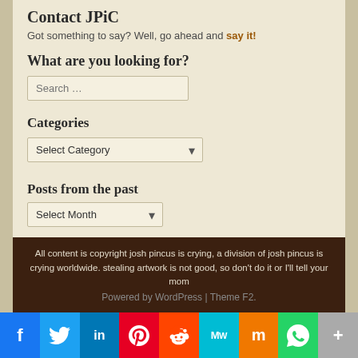Contact JPiC
Got something to say? Well, go ahead and say it!
What are you looking for?
Search ...
Categories
Select Category
Posts from the past
Select Month
Meta
› Log in
› Entries feed
› Comments feed
› WordPress.org
All content is copyright josh pincus is crying, a division of josh pincus is crying worldwide. stealing artwork is not good, so don't do it or I'll tell your mom
Powered by WordPress | Theme F2.